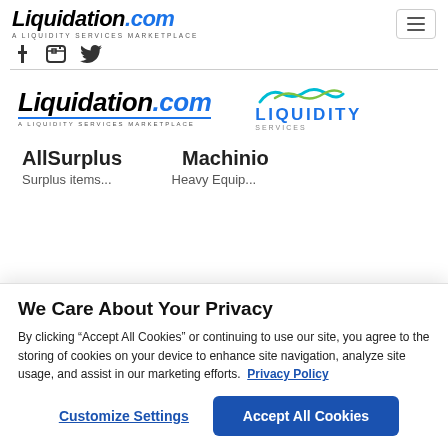[Figure (logo): Liquidation.com logo with tagline 'A LIQUIDITY SERVICES MARKETPLACE' in top nav bar]
[Figure (logo): Hamburger menu button (three horizontal lines) in top right of nav bar]
[Figure (logo): Social media icons row (Facebook, Instagram, Twitter)]
[Figure (logo): Liquidation.com logo (large) in footer section]
[Figure (logo): Liquidity Services logo with wave graphic in footer section]
AllSurplus
Machinio
We Care About Your Privacy
By clicking “Accept All Cookies” or continuing to use our site, you agree to the storing of cookies on your device to enhance site navigation, analyze site usage, and assist in our marketing efforts.  Privacy Policy
Customize Settings
Accept All Cookies